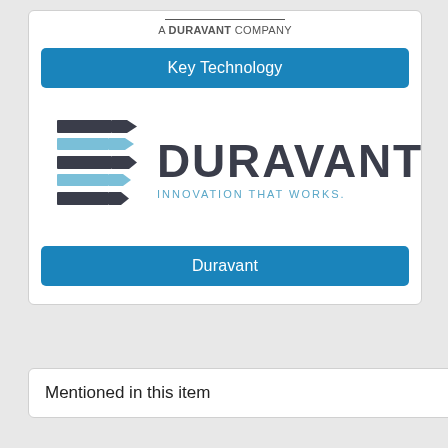A DURAVANT COMPANY
Key Technology
[Figure (logo): Duravant logo: stylized D mark in dark slate and light blue stripes, with DURAVANT text and 'INNOVATION THAT WORKS.' tagline]
Duravant
Mentioned in this item